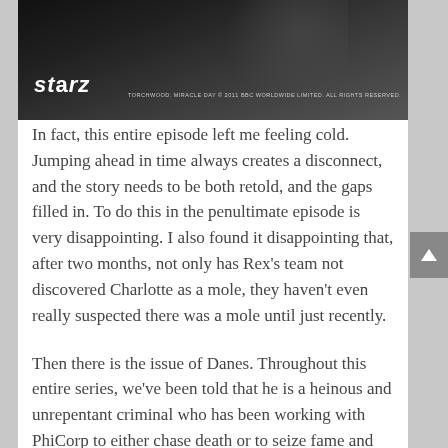[Figure (photo): A dark promotional image for Torchwood: Miracle Day (Starz). The Starz logo appears in the lower left, and the copyright text reads: TORCHWOOD: MIRACLE DAY © 2011 BBC WORLDWIDE LIMITED. ALL RIGHTS RESERVED.]
In fact, this entire episode left me feeling cold. Jumping ahead in time always creates a disconnect, and the story needs to be both retold, and the gaps filled in. To do this in the penultimate episode is very disappointing. I also found it disappointing that, after two months, not only has Rex's team not discovered Charlotte as a mole, they haven't even really suspected there was a mole until just recently.
Then there is the issue of Danes. Throughout this entire series, we've been told that he is a heinous and unrepentant criminal who has been working with PhiCorp to either chase death or to seize fame and power. To make him an ally, however dubious it may be, I felt was a disservice to the development of his character. More than that, by making him a fugitive on